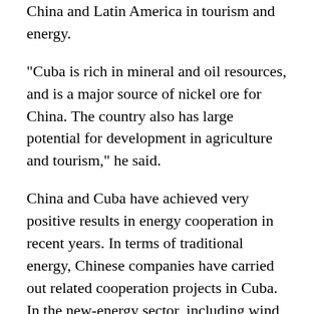China and Latin America in tourism and energy.
"Cuba is rich in mineral and oil resources, and is a major source of nickel ore for China. The country also has large potential for development in agriculture and tourism," he said.
China and Cuba have achieved very positive results in energy cooperation in recent years. In terms of traditional energy, Chinese companies have carried out related cooperation projects in Cuba. In the new-energy sector, including wind power and photovoltaics, cooperation has been enhanced.
Cuba, among other nations, became a member of the BRI energy partnership in October, according to the